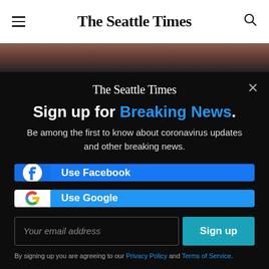The Seattle Times
[Figure (photo): Partial photo of people — cropped top portion visible below the header bar]
The Seattle Times
Sign up for Breaking News.
Be among the first to know about coronavirus updates and other breaking news.
Use Facebook
Use Google
Your email address
Sign up
By signing up you are agreeing to our Privacy Policy and Terms of Service.